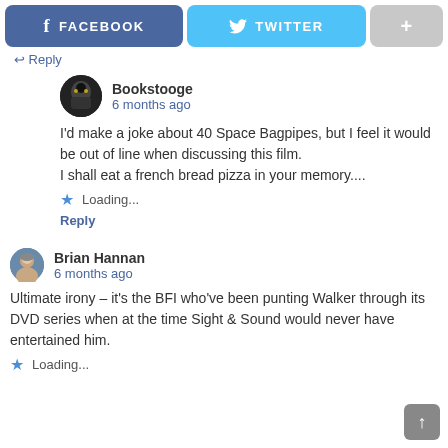[Figure (screenshot): Facebook and Twitter share buttons plus a plus button at top of page]
↩ Reply
Bookstooge
6 months ago
I'd make a joke about 40 Space Bagpipes, but I feel it would be out of line when discussing this film.
I shall eat a french bread pizza in your memory....
Loading...
Reply
Brian Hannan
6 months ago
Ultimate irony – it's the BFI who've been punting Walker through its DVD series when at the time Sight & Sound would never have entertained him.
Loading...